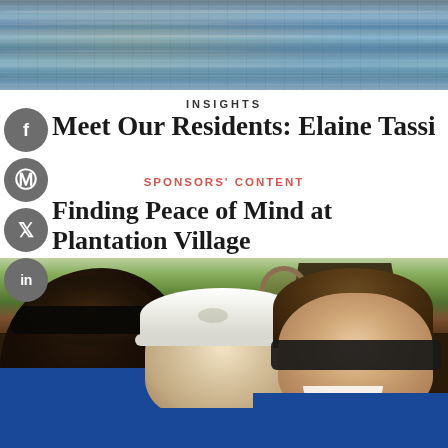[Figure (photo): Water surface with rippling reflections, viewed from above]
INSIGHTS
Meet Our Residents: Elaine Tassi
SPONSORS' CONTENT
Finding Peace of Mind at Plantation Village
[Figure (photo): Outdoor selfie of three people smiling, one wearing sunglasses and blue shirt on left, one in white cap in middle, one with sunglasses on right; outdoor setting with trees and pavilion in background]